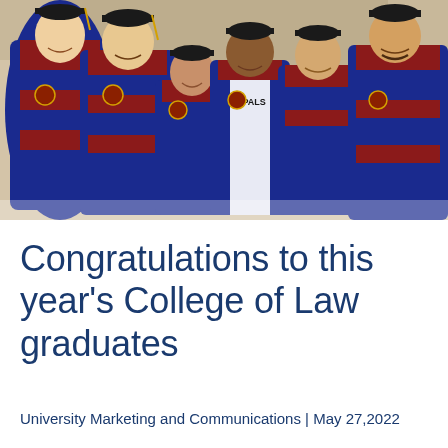[Figure (photo): Group of smiling college graduates in blue and red academic regalia with mortarboard caps, posing together at a graduation ceremony]
Congratulations to this year's College of Law graduates
University Marketing and Communications | May 27,2022